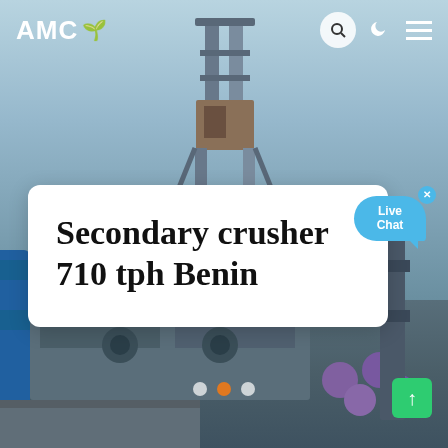[Figure (photo): Industrial machinery/crusher equipment photo background, showing metal scaffolding, conveyor structures, purple pipes, and industrial plant equipment against a light blue sky]
AMC
Secondary crusher 710 tph Benin
[Figure (other): Live Chat bubble widget in blue with close button]